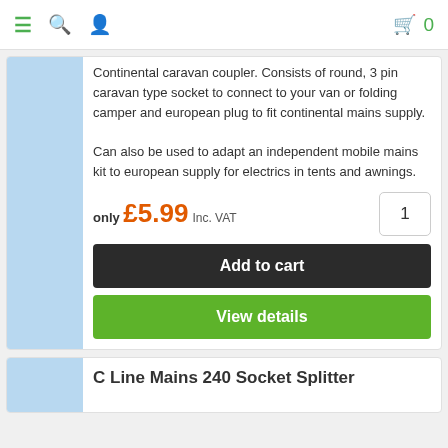Menu | Search | Account | Cart 0
Continental caravan coupler. Consists of round, 3 pin caravan type socket to connect to your van or folding camper and european plug to fit continental mains supply.

Can also be used to adapt an independent mobile mains kit to european supply for electrics in tents and awnings.
only £5.99 Inc. VAT  [qty: 1]
Add to cart
View details
C Line Mains 240 Socket Splitter